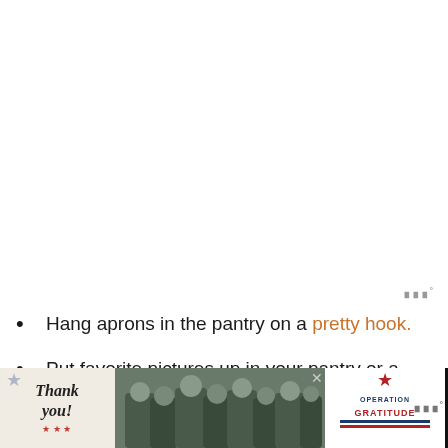[Figure (logo): Small logo with stylized 'III' letters and degree symbol in gray, top right area]
Hang aprons in the pantry on a pretty hook.
Put favorite pictures up in your pantry or a board to write needed grocery items.
[Figure (infographic): Advertisement banner at bottom: 'Thank you' card on left, military soldiers photo in center, Operation Gratitude logo on right, with close button and small logo at far right]